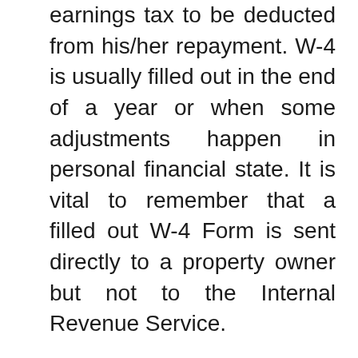earnings tax to be deducted from his/her repayment. W-4 is usually filled out in the end of a year or when some adjustments happen in personal financial state. It is vital to remember that a filled out W-4 Form is sent directly to a property owner but not to the Internal Revenue Service.